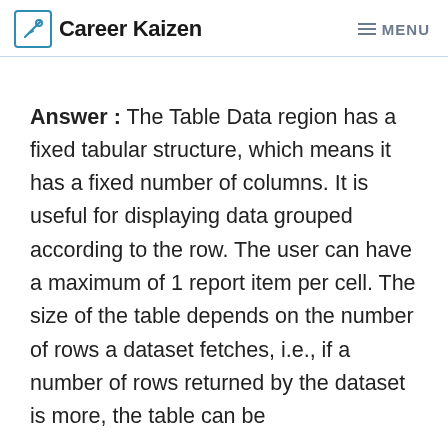Career Kaizen   MENU
Answer : The Table Data region has a fixed tabular structure, which means it has a fixed number of columns. It is useful for displaying data grouped according to the row. The user can have a maximum of 1 report item per cell. The size of the table depends on the number of rows a dataset fetches, i.e., if a number of rows returned by the dataset is more, the table can be